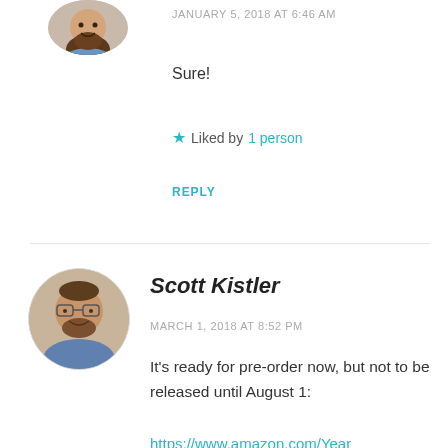[Figure (photo): Circular avatar photo of a person partially visible at the top of the page]
JANUARY 5, 2018 AT 6:46 AM
Sure!
★ Liked by 1 person
REPLY
[Figure (photo): Circular avatar photo of Scott Kistler, a man with glasses and a beard]
Scott Kistler
MARCH 1, 2018 AT 8:52 PM
It's ready for pre-order now, but not to be released until August 1:
https://www.amazon.com/Year...